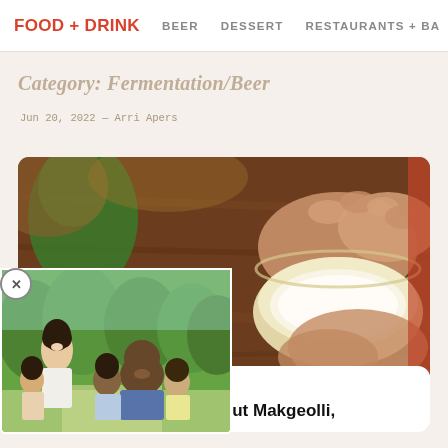FOOD + DRINK   BEER   DESSERT   RESTAURANTS + BA
Category: Fermentation/Beer
Jun 20, 2022 — Arri Apers
[Figure (photo): Close-up photo of hands holding a yellowish ceramic bowl filled with white milky liquid (makgeolli), with a green bottle pouring in background, wooden table surface]
[Figure (photo): Overlay popup photo of a smiling Black family (woman, man, three children) outdoors in a park setting with green trees]
FOOD + DRINK
Everything To Know About Makgeolli,